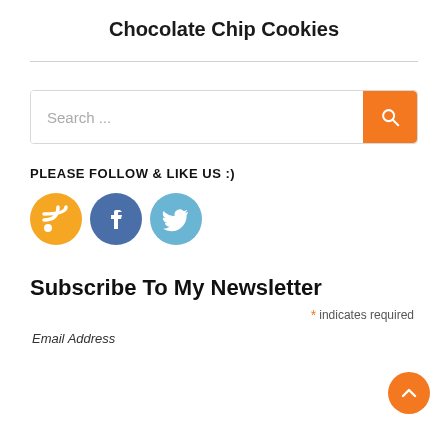Chocolate Chip Cookies
Search ...
PLEASE FOLLOW & LIKE US :)
[Figure (illustration): Three social media icons: RSS (orange), Facebook (dark blue), Twitter (light blue)]
Subscribe To My Newsletter
* indicates required
Email Address